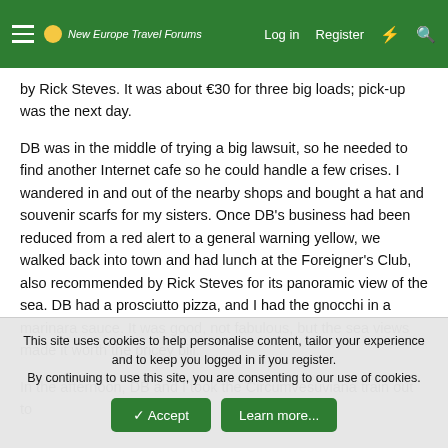New Europe Travel Forums — Log in | Register
by Rick Steves. It was about €30 for three big loads; pick-up was the next day.
DB was in the middle of trying a big lawsuit, so he needed to find another Internet cafe so he could handle a few crises. I wandered in and out of the nearby shops and bought a hat and souvenir scarfs for my sisters. Once DB's business had been reduced from a red alert to a general warning yellow, we walked back into town and had lunch at the Foreigner's Club, also recommended by Rick Steves for its panoramic view of the sea. DB had a prosciutto pizza, and I had the gnocchi in a marinara sauce. It was good, not fabulous, but the sea views made it worth the pricey bill.
In the afternoon, DB and I took the Circumvesuviana train out to
This site uses cookies to help personalise content, tailor your experience and to keep you logged in if you register.
By continuing to use this site, you are consenting to our use of cookies.
Accept | Learn more...